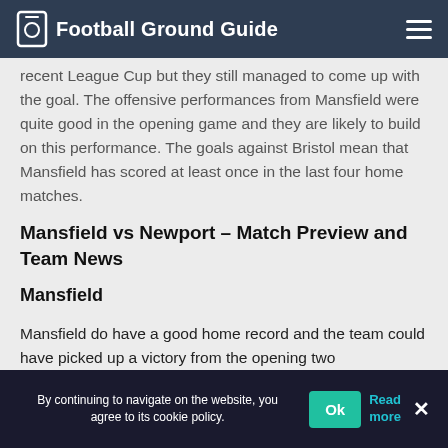Football Ground Guide
recent League Cup but they still managed to come up with the goal. The offensive performances from Mansfield were quite good in the opening game and they are likely to build on this performance. The goals against Bristol mean that Mansfield has scored at least once in the last four home matches.
Mansfield vs Newport – Match Preview and Team News
Mansfield
Mansfield do have a good home record and the team could have picked up a victory from the opening two
By continuing to navigate on the website, you agree to its cookie policy. Ok Read more ×